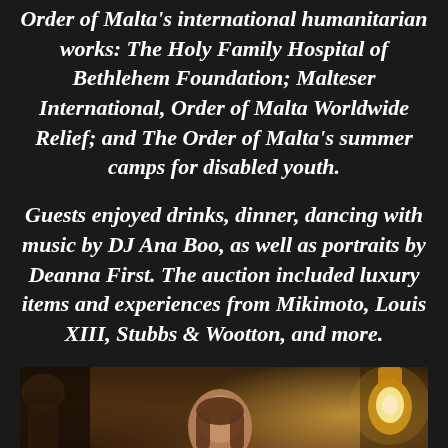Order of Malta's international humanitarian works: The Holy Family Hospital of Bethlehem Foundation; Malteser International, Order of Malta Worldwide Relief; and The Order of Malta's summer camps for disabled youth.
Guests enjoyed drinks, dinner, dancing with music by DJ Ana Boo, as well as portraits by Deanna First. The auction included luxury items and experiences from Mikimoto, Louis XIII, Stubbs & Wootton, and more.
[Figure (photo): A woman in formal attire standing in an ornate interior with golden lamp and dark decorative columns in the background.]